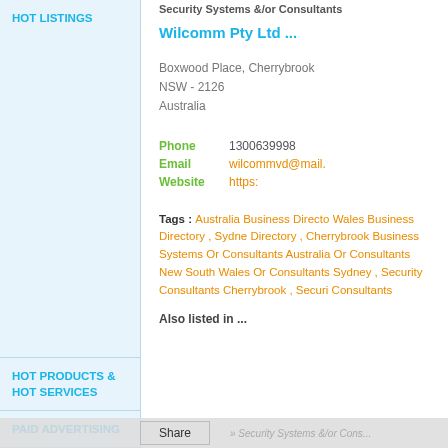Security Systems &/or Consultants
HOT LISTINGS
Wilcomm Pty Ltd ...
Boxwood Place, Cherrybrook
NSW - 2126
Australia
Phone   1300639998
Email   wilcommvd@mail.
Website   https:
Tags : Australia Business Directory, Wales Business Directory , Sydney Directory , Cherrybrook Business Systems Or Consultants Australia Or Consultants New South Wales Or Consultants Sydney , Security Consultants Cherrybrook , Security Consultants
Also listed in ...
HOT PRODUCTS & HOT SERVICES
PAID ADVERTISING